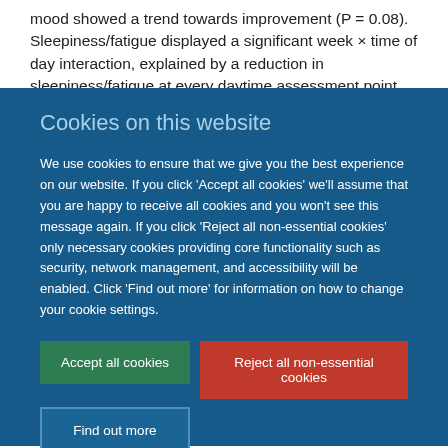mood showed a trend towards improvement (P = 0.08). Sleepiness/fatigue displayed a significant week × time of day interaction, explained by a reduction in sleepiness/fatigue at every daytime assessment point (except bedtime, which
Cookies on this website
We use cookies to ensure that we give you the best experience on our website. If you click 'Accept all cookies' we'll assume that you are happy to receive all cookies and you won't see this message again. If you click 'Reject all non-essential cookies' only necessary cookies providing core functionality such as security, network management, and accessibility will be enabled. Click 'Find out more' for information on how to change your cookie settings.